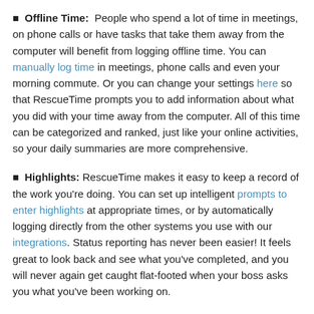Offline Time: People who spend a lot of time in meetings, on phone calls or have tasks that take them away from the computer will benefit from logging offline time. You can manually log time in meetings, phone calls and even your morning commute. Or you can change your settings here so that RescueTime prompts you to add information about what you did with your time away from the computer. All of this time can be categorized and ranked, just like your online activities, so your daily summaries are more comprehensive.
Highlights: RescueTime makes it easy to keep a record of the work you're doing. You can set up intelligent prompts to enter highlights at appropriate times, or by automatically logging directly from the other systems you use with our integrations. Status reporting has never been easier! It feels great to look back and see what you've completed, and you will never again get caught flat-footed when your boss asks you what you've been working on.
We know this is a lot to take in, but customization options are some of the things that make RescueTime so unique. Take your